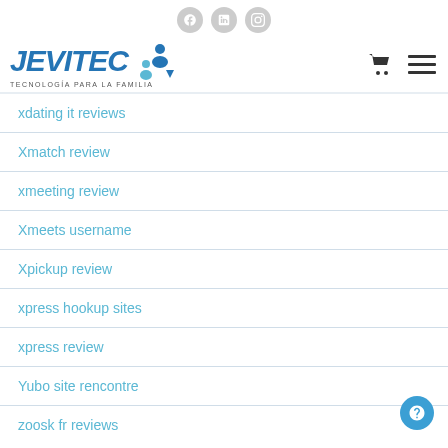Social icons: Facebook, LinkedIn, Instagram
[Figure (logo): JEVITEC logo with icon - TECNOLOGÍA PARA LA FAMILIA]
xdating it reviews
Xmatch review
xmeeting review
Xmeets username
Xpickup review
xpress hookup sites
xpress review
Yubo site rencontre
zoosk fr reviews